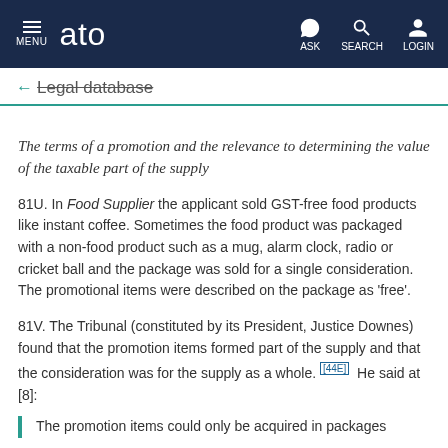ato — MENU | ASK | SEARCH | LOGIN
← Legal database
The terms of a promotion and the relevance to determining the value of the taxable part of the supply
81U. In Food Supplier the applicant sold GST-free food products like instant coffee. Sometimes the food product was packaged with a non-food product such as a mug, alarm clock, radio or cricket ball and the package was sold for a single consideration. The promotional items were described on the package as 'free'.
81V. The Tribunal (constituted by its President, Justice Downes) found that the promotion items formed part of the supply and that the consideration was for the supply as a whole. [44E] He said at [8]:
The promotion items could only be acquired in packages